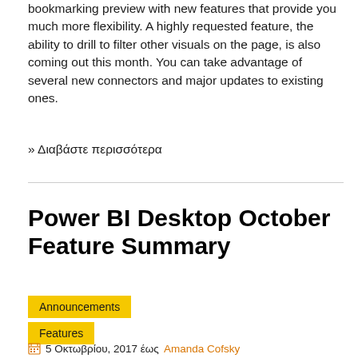bookmarking preview with new features that provide you much more flexibility. A highly requested feature, the ability to drill to filter other visuals on the page, is also coming out this month. You can take advantage of several new connectors and major updates to existing ones.
» Διαβάστε περισσότερα
Power BI Desktop October Feature Summary
Announcements
Features
5 Οκτωβρίου, 2017 έως Amanda Cofsky